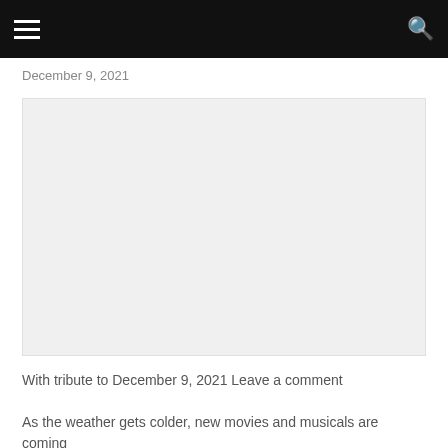≡  🔍
December 9, 2021
[Figure (photo): Large light gray image placeholder rectangle]
With tribute to December 9, 2021 Leave a comment
As the weather gets colder, new movies and musicals are coming